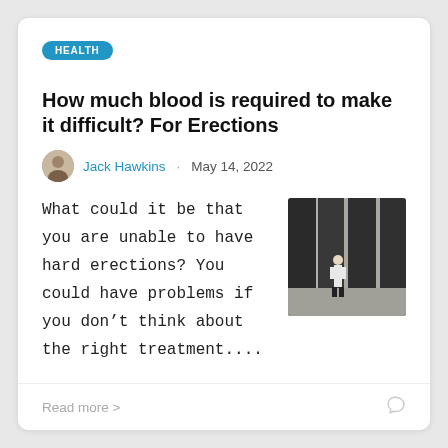HEALTH
How much blood is required to make it difficult? For Erections
Jack Hawkins · May 14, 2022
What could it be that you are unable to have hard erections? You could have problems if you don't think about the right treatment....
[Figure (photo): Person standing in front of large dark pillars or columns outdoors]
Read more >